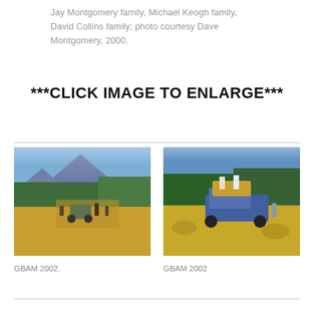Jay Montgomery family, Michael Keogh family, David Collins family; photo courtesy Dave Montgomery, 2000.
***CLICK IMAGE TO ENLARGE***
[Figure (photo): Outdoor farm scene with people operating a hay baler/tractor in a field with mountains and trees in background. GBAM 2002.]
GBAM 2002.
[Figure (photo): Close-up outdoor farm scene with people on a tractor loading hay bales in a golden field with trees in background. GBAM 2002]
GBAM 2002